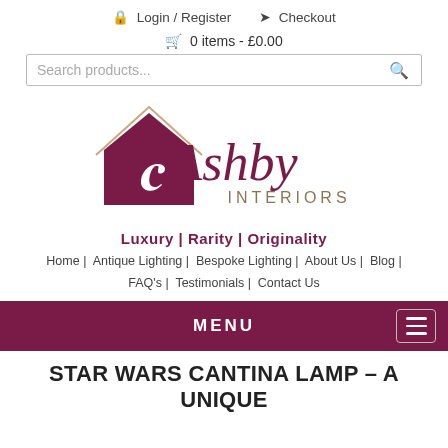Login / Register   Checkout
0 items - £0.00
Search products...
[Figure (logo): Ashby Interiors logo with house silhouette in dark magenta and stylized 'Ashby Interiors' text]
Luxury | Rarity | Originality
Home | Antique Lighting | Bespoke Lighting | About Us | Blog | FAQ's | Testimonials | Contact Us
MENU
STAR WARS CANTINA LAMP – A UNIQUE